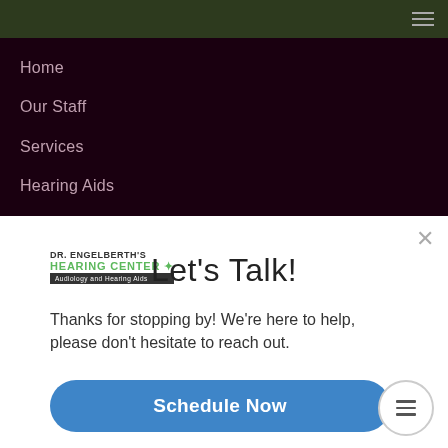Navigation menu bar with hamburger icon
Home
Our Staff
Services
Hearing Aids
[Figure (logo): Dr. Engelberth's Hearing Center logo with green text and dark banner reading Audiology and Hearing Aids]
Let's Talk!
Thanks for stopping by! We're here to help, please don't hesitate to reach out.
Schedule Now